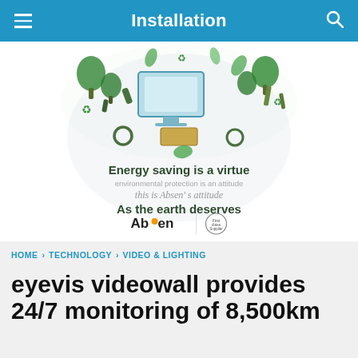Installation
[Figure (illustration): Absen advertisement showing eco-friendly green illustration of AV/display equipment surrounded by recycling and nature icons. Text reads: Energy saving is a virtue / environmental protection is an attitude / this is Absen's attitude / As the earth deserves. Absen logo at bottom.]
HOME › TECHNOLOGY › VIDEO & LIGHTING
eyevis videowall provides 24/7 monitoring of 8,500km